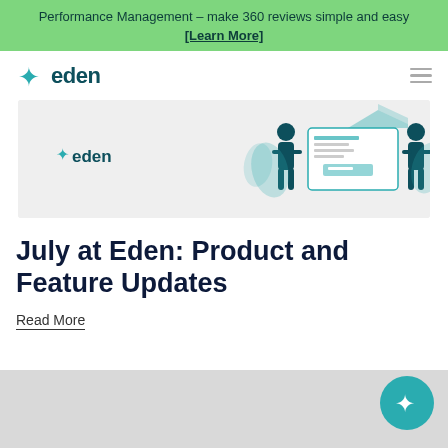Performance Management – make 360 reviews simple and easy [Learn More]
[Figure (logo): Eden logo with sparkle star icon in teal/dark navy]
[Figure (illustration): Eden branded hero banner with two illustrated figures flanking UI dashboard mockup on light gray background]
July at Eden: Product and Feature Updates
Read More